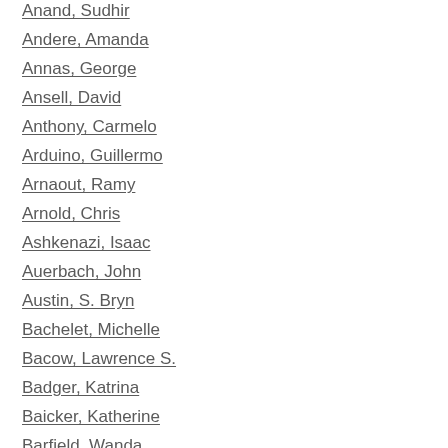Anand, Sudhir
Andere, Amanda
Annas, George
Ansell, David
Anthony, Carmelo
Arduino, Guillermo
Arnaout, Ramy
Arnold, Chris
Ashkenazi, Isaac
Auerbach, John
Austin, S. Bryn
Bachelet, Michelle
Bacow, Lawrence S.
Badger, Katrina
Baicker, Katherine
Barfield, Wanda
Baron, David